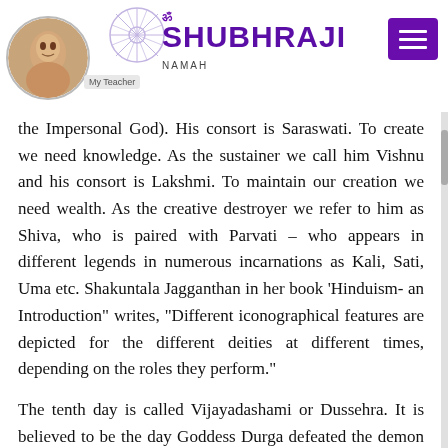SHUBHRAJI
the Impersonal God). His consort is Saraswati. To create we need knowledge. As the sustainer we call him Vishnu and his consort is Lakshmi. To maintain our creation we need wealth. As the creative destroyer we refer to him as Shiva, who is paired with Parvati – who appears in different legends in numerous incarnations as Kali, Sati, Uma etc. Shakuntala Jagganthan in her book 'Hinduism- an Introduction" writes, "Different iconographical features are depicted for the different deities at different times, depending on the roles they perform."
The tenth day is called Vijayadashami or Dussehra. It is believed to be the day Goddess Durga defeated the demon Mahisasura. It is is also the day Lord Ram defeated the demon king Ravan.
The idea is that we take time to connect in a celebration to